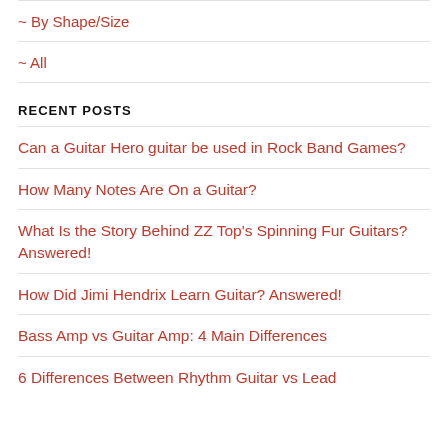~ By Shape/Size
~ All
RECENT POSTS
Can a Guitar Hero guitar be used in Rock Band Games?
How Many Notes Are On a Guitar?
What Is the Story Behind ZZ Top's Spinning Fur Guitars? Answered!
How Did Jimi Hendrix Learn Guitar? Answered!
Bass Amp vs Guitar Amp: 4 Main Differences
6 Differences Between Rhythm Guitar vs Lead